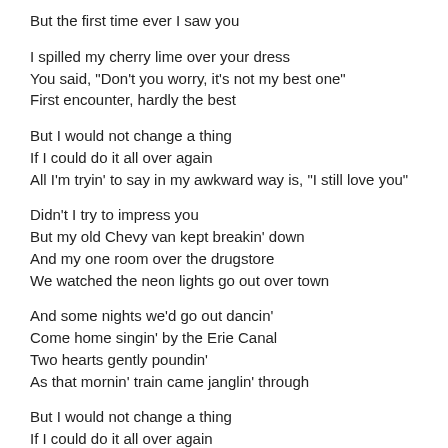But the first time ever I saw you
I spilled my cherry lime over your dress
You said, "Don't you worry, it's not my best one"
First encounter, hardly the best
But I would not change a thing
If I could do it all over again
All I'm tryin' to say in my awkward way is, "I still love you"
Didn't I try to impress you
But my old Chevy van kept breakin' down
And my one room over the drugstore
We watched the neon lights go out over town
And some nights we'd go out dancin'
Come home singin' by the Erie Canal
Two hearts gently poundin'
As that mornin' train came janglin' through
But I would not change a thing
If I could do it all over again
All I'm tryin' to say in my awkward way is, "I still love you"
Well darlin', didn't I promise
I'd never go so far away again?